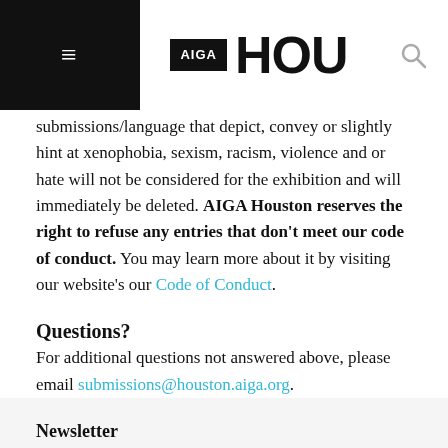≡ AIGA HOU 🔍
submissions/language that depict, convey or slightly hint at xenophobia, sexism, racism, violence and or hate will not be considered for the exhibition and will immediately be deleted. AIGA Houston reserves the right to refuse any entries that don't meet our code of conduct. You may learn more about it by visiting our website's our Code of Conduct.
Questions?
For additional questions not answered above, please email submissions@houston.aiga.org.
Newsletter